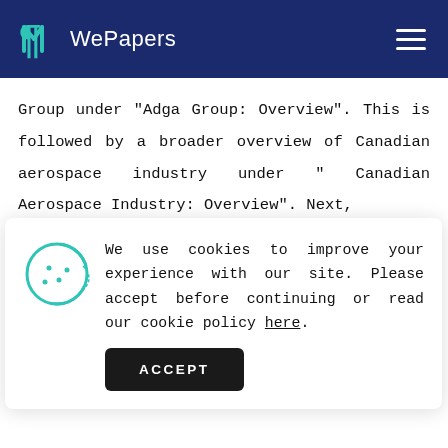WePapers
Group under "Adga Group: Overview". This is followed by a broader overview of Canadian aerospace industry under " Canadian Aerospace Industry: Overview". Next,
We use cookies to improve your experience with our site. Please accept before continuing or read our cookie policy here.
conclusion is drawn and recommendations restated.
Adga Group: Overview
As noted, Adga Group is a major, Canadian, aerospace